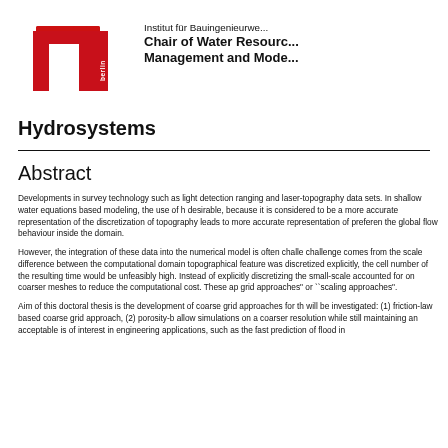[Figure (logo): TU Berlin logo — red stylized letters with 'berlin' text — alongside institution name 'Institut für Bauingenieurwe...' and 'Chair of Water Resourc... Management and Mode...' and 'Hydrosystems']
Abstract
Developments in survey technology such as light detection ranging and laser- topography data sets. In shallow water equations based modeling, the use of h desirable, because it is considered to be a more accurate representation of the discretization of topography leads to more accurate representation of preferen the global flow behaviour inside the domain.
However, the integration of these data into the numerical model is often challe challenge comes from the scale difference between the computational domain topographical feature was discretized explicitly, the cell number of the resulting time would be unfeasibly high. Instead of explicitly discretizing the small-scale accounted for on coarser meshes to reduce the computational cost. These ap grid approaches" or ``scaling approaches".
Aim of this doctoral thesis is the development of coarse grid approaches for th will be investigated: (1) friction-law based coarse grid approach, (2) porosity-b allow simulations on a coarser resolution while still maintaining an acceptable is of interest in engineering applications, such as the fast prediction of flood in